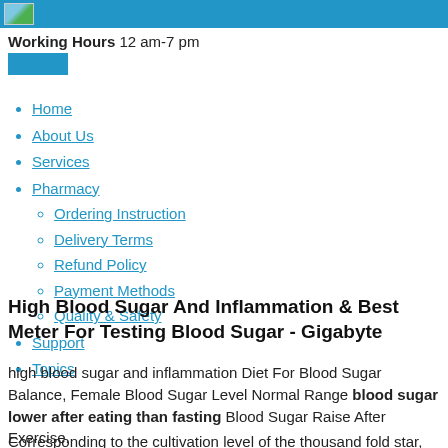Working Hours 12 am-7 pm
Home
About Us
Services
Pharmacy
Ordering Instruction
Delivery Terms
Refund Policy
Payment Methods
Quality & Safety
Support
Topics
High Blood Sugar And Inflammation & Best Meter For Testing Blood Sugar - Gigabyte
high blood sugar and inflammation Diet For Blood Sugar Balance, Female Blood Sugar Level Normal Range blood sugar lower after eating than fasting Blood Sugar Raise After Exercise.
Corresponding to the cultivation level of the thousand fold star,